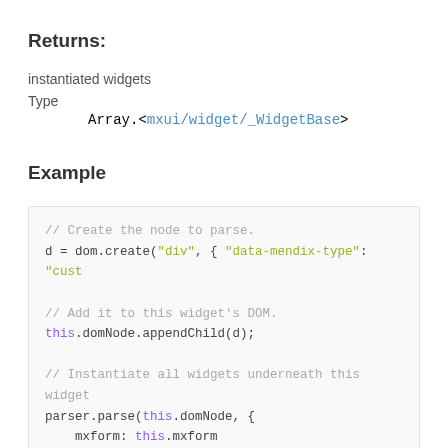Returns:
instantiated widgets
Type
Array.<mxui/widget/_WidgetBase>
Example
// Create the node to parse.
d = dom.create("div", { "data-mendix-type": "cust

// Add it to this widget's DOM.
this.domNode.appendChild(d);

// Instantiate all widgets underneath this widget
parser.parse(this.domNode, {
    mxform: this.mxform
});